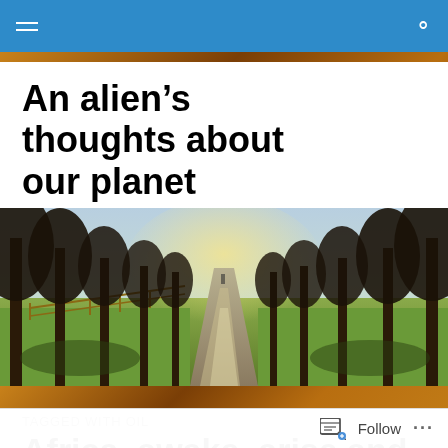navigation bar with hamburger menu and search icon
An alien’s thoughts about our planet
[Figure (photo): Tree-lined avenue path with sunlight filtering through bare trees, green grass on both sides, fence on left, receding perspective to vanishing point]
TAGGED WITH OIL
Africa, awake, arise and act! (Part 1)
Follow ...